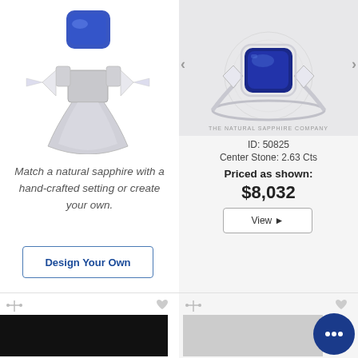[Figure (photo): A sapphire gemstone floating above a ring setting with side diamonds, exploded view on white background]
Match a natural sapphire with a hand-crafted setting or create your own.
Design Your Own
[Figure (photo): A finished sapphire ring with cushion-cut blue center stone and side diamonds on silver band, shown on light gray background. Watermark: THE NATURAL SAPPHIRE COMPANY]
ID: 50825
Center Stone: 2.63 Cts
Priced as shown:
$8,032
View ▶
[Figure (photo): Bottom left: partially visible product thumbnail, black image]
[Figure (photo): Bottom right: partially visible product thumbnail on gray background]
[Figure (other): Blue chat bubble icon with three dots in bottom right corner]